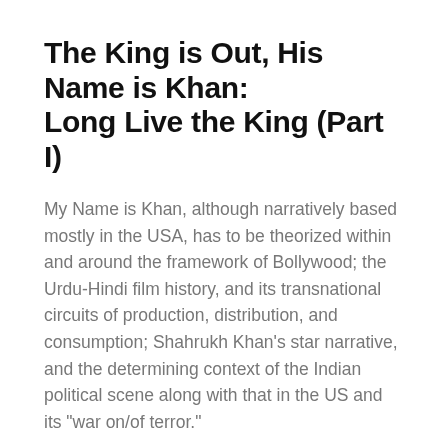The King is Out, His Name is Khan: Long Live the King (Part I)
My Name is Khan, although narratively based mostly in the USA, has to be theorized within and around the framework of Bollywood; the Urdu-Hindi film history, and its transnational circuits of production, distribution, and consumption; Shahrukh Khan’s star narrative, and the determining context of the Indian political scene along with that in the US and its “war on/of terror.”
by Huma Dar